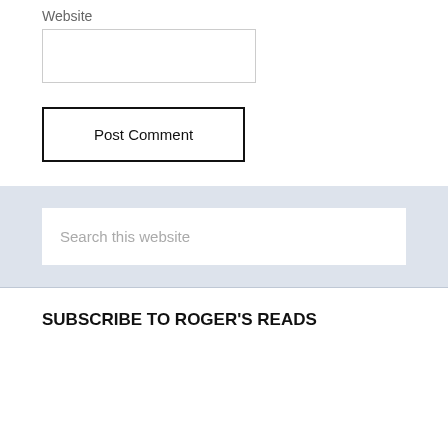Website
Post Comment
Search this website
SUBSCRIBE TO ROGER'S READS